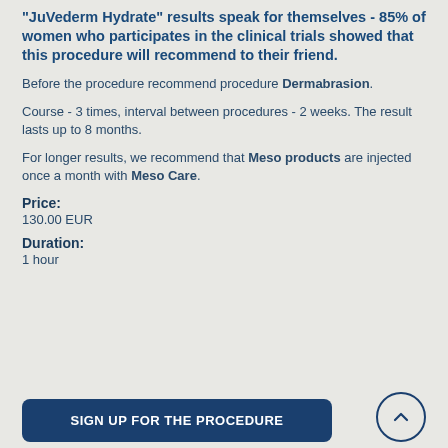"JuVederm Hydrate" results speak for themselves - 85% of women who participates in the clinical trials showed that this procedure will recommend to their friend.
Before the procedure recommend procedure Dermabrasion.
Course - 3 times, interval between procedures - 2 weeks. The result lasts up to 8 months.
For longer results, we recommend that Meso products are injected once a month with Meso Care.
Price: 130.00 EUR
Duration: 1 hour
SIGN UP FOR THE PROCEDURE